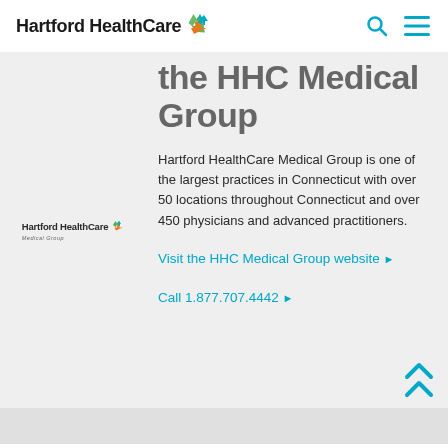Hartford HealthCare
the HHC Medical Group
[Figure (logo): Hartford HealthCare Medical Group logo with colorful recycling-style icon and text]
Hartford HealthCare Medical Group is one of the largest practices in Connecticut with over 50 locations throughout Connecticut and over 450 physicians and advanced practitioners.
Visit the HHC Medical Group website ▶
Call 1.877.707.4442 ▶